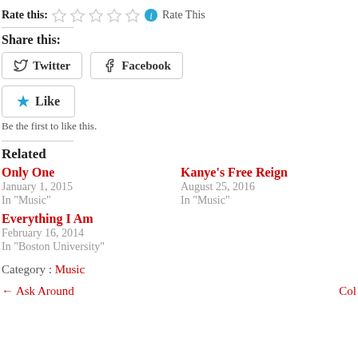Rate this: ☆☆☆☆☆ ℹ Rate This
Share this:
Twitter  Facebook
Like  Be the first to like this.
Related
Only One
January 1, 2015
In "Music"
Kanye's Free Reign
August 25, 2016
In "Music"
Everything I Am
February 16, 2014
In "Boston University"
Category : Music
← Ask Around  Col